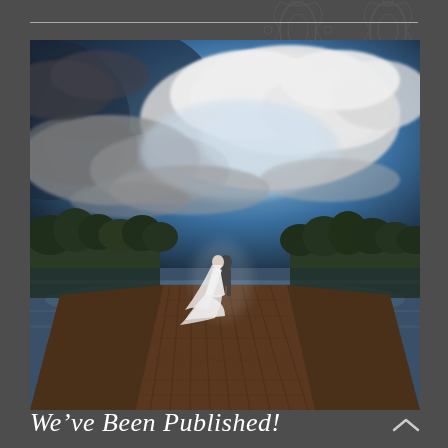[Figure (photo): Wedding photo of a bride and groom kissing on a wooden dock over a lake, with dramatic cloudy sky above and tree line reflecting in the water. Wide-angle, artistic composition.]
We've Been Published!